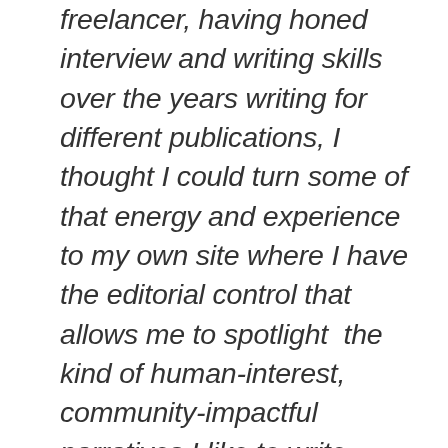freelancer, having honed interview and writing skills over the years writing for different publications, I thought I could turn some of that energy and experience to my own site where I have the editorial control that allows me to spotlight  the kind of human-interest, community-impactful narratives I like to write about (and which I think are often overlooked for the 'sexier' people doing bad things stories). The